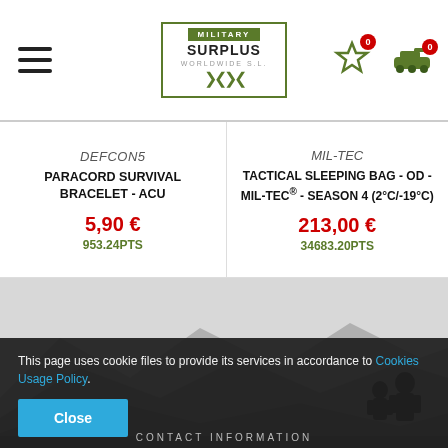Military Surplus header with logo, hamburger menu, and cart icons
DEFCON5
PARACORD SURVIVAL BRACELET - ACU
5,90 €
953.24PTS
MIL-TEC
TACTICAL SLEEPING BAG - OD - MIL-TEC® - SEASON 4 (2°C/-19°C)
213,00 €
34683.20PTS
[Figure (illustration): Mountain silhouette scene with two soldier silhouettes on right]
This page uses cookie files to provide its services in accordance to Cookies Usage Policy.
Close
CONTACT INFORMATION